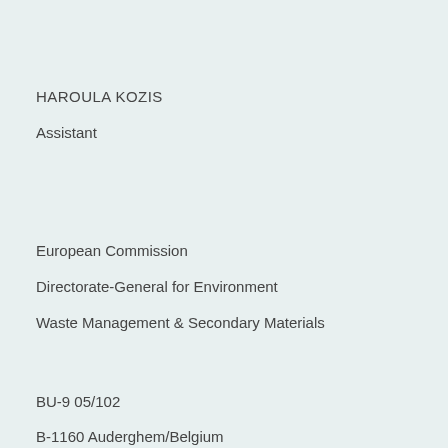HAROULA KOZIS
Assistant
European Commission
Directorate-General for Environment
Waste Management & Secondary Materials
BU-9 05/102
B-1160 Auderghem/Belgium